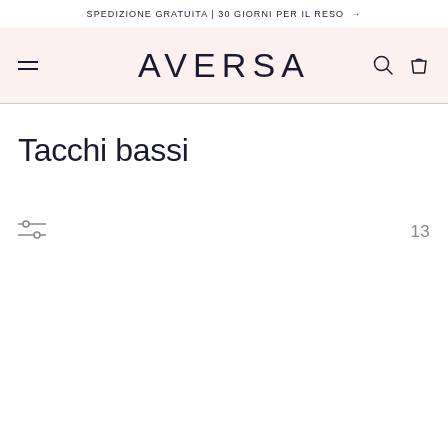SPEDIZIONE GRATUITA | 30 GIORNI PER IL RESO →
[Figure (logo): AVERSA brand logo with hamburger menu, search icon, and shopping bag icon in a pink/blush navigation bar]
Tacchi bassi
13